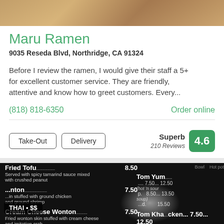[Figure (photo): Top portion of food photo, partially cropped, showing ramen or similar dish]
Maru Ramen
9035 Reseda Blvd, Northridge, CA 91324
Before I review the ramen, I would give their staff a 5+ for excellent customer service. They are friendly, attentive and know how to greet customers. Every...
(818) 818-6350
Order online
Take-Out
Delivery
Superb
210 Reviews
4.6
[Figure (photo): Restaurant menu board photo showing Thai restaurant menu items including Fried Tofu, Wonton, Cream Cheese Wonton, Crispy Shrimp Stick, Mee Krob, Tom Yum, Tom Kha, with prices. Badge shows THAI • $$]